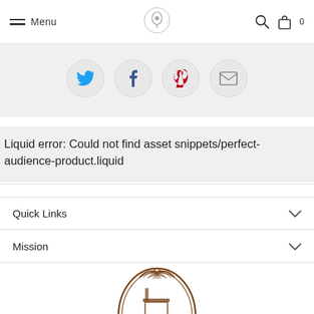Menu
[Figure (illustration): Social sharing icons: Twitter (blue bird), Facebook (blue f), Pinterest (red p), Email (envelope), displayed as circles on a light gray background]
Liquid error: Could not find asset snippets/perfect-audience-product.liquid
Quick Links
Mission
[Figure (logo): Decorative oval logo with ornate brown frame and a chair illustration inside, partially visible at bottom of page]